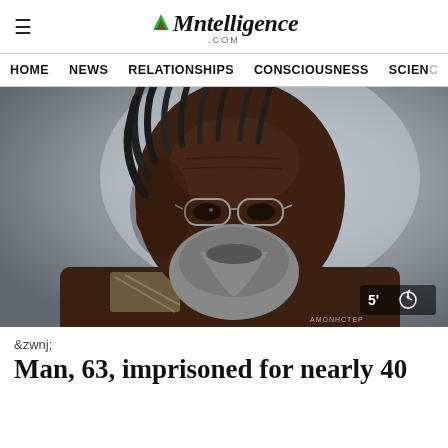Mntelligence .com
HOME  NEWS  RELATIONSHIPS  CONSCIOUSNESS  SCIENCE
[Figure (photo): A man in his 60s with dreadlocks, a grey beard, and wire-rimmed glasses looks slightly off to the right. He wears a brown jacket with a patterned collar. Background is blurred grey/outdoor setting. A '5 minute read' timer badge is shown in the bottom right corner.]
&zwnj;
Man, 63, imprisoned for nearly 40